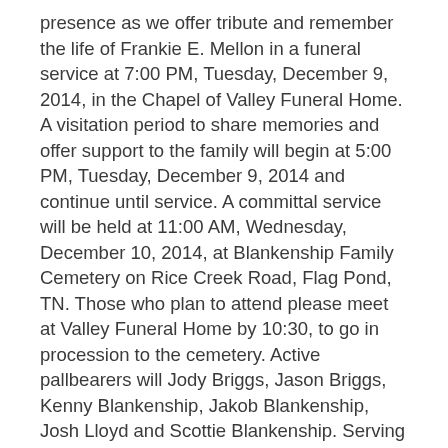presence as we offer tribute and remember the life of Frankie E. Mellon in a funeral service at 7:00 PM, Tuesday, December 9, 2014, in the Chapel of Valley Funeral Home. A visitation period to share memories and offer support to the family will begin at 5:00 PM, Tuesday, December 9, 2014 and continue until service. A committal service will be held at 11:00 AM, Wednesday, December 10, 2014, at Blankenship Family Cemetery on Rice Creek Road, Flag Pond, TN. Those who plan to attend please meet at Valley Funeral Home by 10:30, to go in procession to the cemetery. Active pallbearers will Jody Briggs, Jason Briggs, Kenny Blankenship, Jakob Blankenship, Josh Lloyd and Scottie Blankenship. Serving as honorary pallbearers are Phillip Briggs, Austyn Lloyd and Garrett Lloyd.
Condolences and memories may be shared with the family through our website at